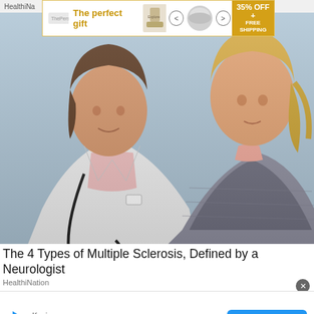HealthiNation
[Figure (photo): Advertisement banner showing 'The perfect gift' with kitchen product images, navigation arrows, and 35% OFF + FREE SHIPPING badge]
[Figure (photo): Doctor in white coat with stethoscope consulting with a female patient, both looking down at something together, blue background]
The 4 Types of Multiple Sclerosis, Defined by a Neurologist
HealthiNation
[Figure (infographic): Kynix Integrated Circuits Supplier advertisement with GET QUOTE button]